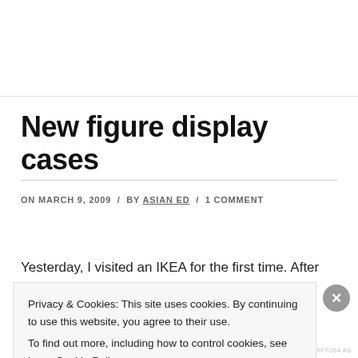New figure display cases
ON MARCH 9, 2009  /  BY ASIAN ED  /  1 COMMENT
Yesterday, I visited an IKEA for the first time. After
Privacy & Cookies: This site uses cookies. By continuing to use this website, you agree to their use.
To find out more, including how to control cookies, see here: Cookie Policy
Close and accept